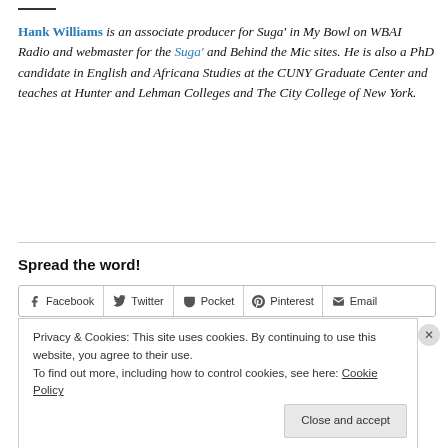Hank Williams is an associate producer for Suga' in My Bowl on WBAI Radio and webmaster for the Suga' and Behind the Mic sites. He is also a PhD candidate in English and Africana Studies at the CUNY Graduate Center and teaches at Hunter and Lehman Colleges and The City College of New York.
Spread the word!
Facebook | Twitter | Pocket | Pinterest | Email
Privacy & Cookies: This site uses cookies. By continuing to use this website, you agree to their use. To find out more, including how to control cookies, see here: Cookie Policy
Close and accept